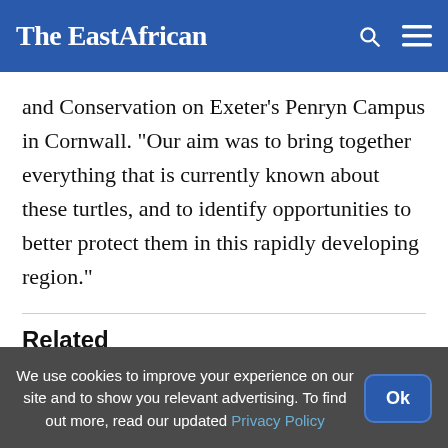The EastAfrican
and Conservation on Exeter's Penryn Campus in Cornwall. “Our aim was to bring together everything that is currently known about these turtles, and to identify opportunities to better protect them in this rapidly developing region.”
Related
[Figure (photo): Thumbnail photo of a person (side/back of head visible) for a related article about Monkeypox Q&A]
Monkeypox Q&A: An expert
We use cookies to improve your experience on our site and to show you relevant advertising. To find out more, read our updated Privacy Policy